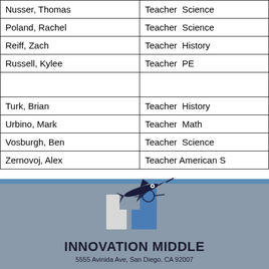| Name | Role  Subject |
| --- | --- |
| Nusser, Thomas | Teacher  Science |
| Poland, Rachel | Teacher  Science |
| Reiff, Zach | Teacher  History |
| Russell, Kylee | Teacher  PE |
|  |  |
| Turk, Brian | Teacher  History |
| Urbino, Mark | Teacher  Math |
| Vosburgh, Ben | Teacher  Science |
| Zernovoj, Alex | Teacher  American S |
[Figure (logo): Innovation Middle School logo — stylized letter M with airplane/marlin graphic in dark navy and blue]
INNOVATION MIDDLE
5555 Avinida Ave, San Diego, CA 92007